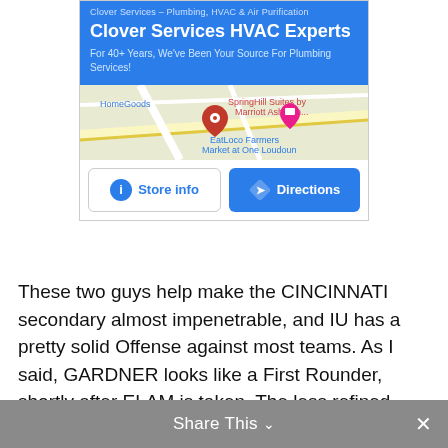[Figure (screenshot): Google Maps ad for Clover Services HVAC Experts with blue banner, map snippet, Store info and Directions buttons]
These two guys help make the CINCINNATI secondary almost impenetrable, and IU has a pretty solid Offense against most teams. As I said, GARDNER looks like a First Rounder, shortly after ELAM is taken. The less refined BRYANT may have to wait until early Day 3 to be selected, but I see both of them starting in the NFL in short order.
Share This ∨  ✕